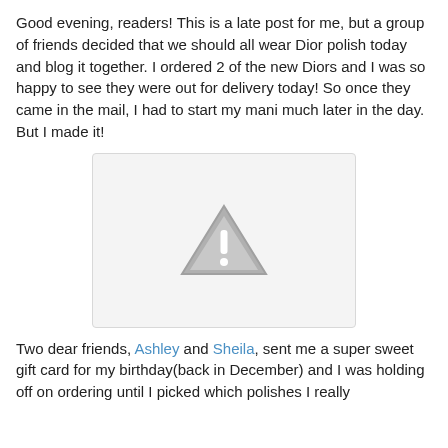Good evening, readers! This is a late post for me, but a group of friends decided that we should all wear Dior polish today and blog it together. I ordered 2 of the new Diors and I was so happy to see they were out for delivery today! So once they came in the mail, I had to start my mani much later in the day. But I made it!
[Figure (photo): Broken/unavailable image placeholder showing a grey triangle with exclamation mark warning icon on a light grey background]
Two dear friends, Ashley and Sheila, sent me a super sweet gift card for my birthday(back in December) and I was holding off on ordering until I picked which polishes I really